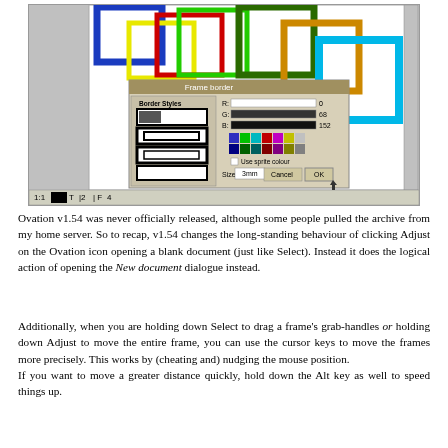[Figure (screenshot): Screenshot of a desktop publishing application (Ovation) showing a Frame border dialog box with border style options, color pickers, and OK/Cancel buttons. The main canvas shows multiple colored rectangular frames overlapping — blue, yellow, red, green, dark green, orange/gold, and cyan outlines.]
Ovation v1.54 was never officially released, although some people pulled the archive from my home server. So to recap, v1.54 changes the long-standing behaviour of clicking Adjust on the Ovation icon opening a blank document (just like Select). Instead it does the logical action of opening the New document dialogue instead.
Additionally, when you are holding down Select to drag a frame's grab-handles or holding down Adjust to move the entire frame, you can use the cursor keys to move the frames more precisely. This works by (cheating and) nudging the mouse position.
If you want to move a greater distance quickly, hold down the Alt key as well to speed things up.